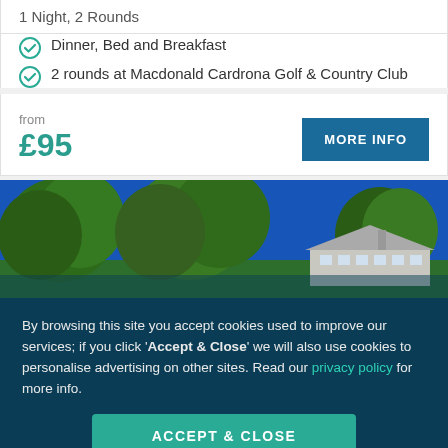1 Night, 2 Rounds
Dinner, Bed and Breakfast
2 rounds at Macdonald Cardrona Golf & Country Club
from £95
[Figure (photo): Panoramic photo of a country hotel or clubhouse building with trees and blue sky]
By browsing this site you accept cookies used to improve our services; if you click 'Accept & Close' we will also use cookies to personalise advertising on other sites. Read our privacy policy for more info.
ACCEPT & CLOSE
Reject personalised marketing